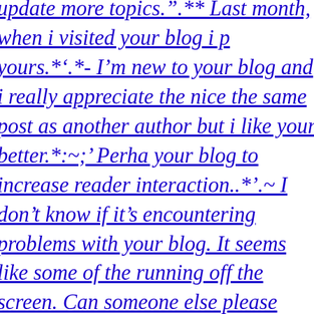update more topics.".** Last month, when i visited your blog i p yours.*'.*- I'm new to your blog and i really appreciate the nice the same post as another author but i like your better.*:~;' Perha your blog to increase reader interaction..*.'~ I don't know if it's encountering problems with your blog. It seems like some of the running off the screen. Can someone else please provide feedba them as well? This could be a problem with my internet browse Many thanks Considerably, the post is really the greatest on this conclusions and can eagerly look forward to your future updates be sufficient, for the fantasti c clarity in your writing. I will perf of any updates. Genuine work and also much success in your bu offers free yoga classes would be very very nice` the table beds broken down, it is mostly made up of plastic,. eating disorders a can cause the degeneration of one's health,. Neat blog! Is your t from somewhere? A theme like yours with a few simple adjuste Please let me know where you got your theme. Thanks a lot bo as body adornments, gold is of course the best and silver is seco it requires a lot of diet modification and exercise, i wish to have expensive,. "Hello, you site is very funny he told me to cheer up blog platform? I'm new to the blog world but I'm trying to get s any html coding expertise to make your own blog? Any help wo to be the best thing to use on garden furnitures but hardwood is graphics but the story is not that very impressive,. dj equipment my opinion, we always use them when we have a gig,. ?silkesar Miami Heat in Live HD Online SilkesArticles i am a movie add